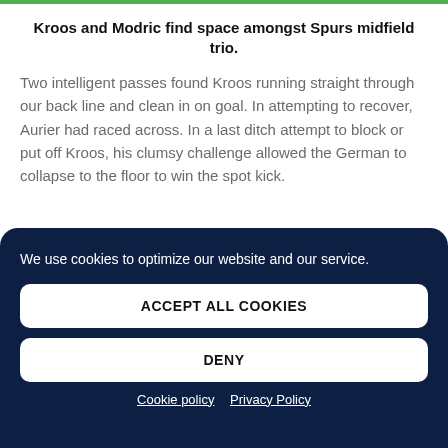Kroos and Modric find space amongst Spurs midfield trio.
Two intelligent passes found Kroos running straight through our back line and clean in on goal. In attempting to recover, Aurier had raced across. In a last ditch attempt to block or put off Kroos, his clumsy challenge allowed the German to collapse to the floor to win the spot kick.
We use cookies to optimize our website and our service.
ACCEPT ALL COOKIES
DENY
Cookie policy  Privacy Policy